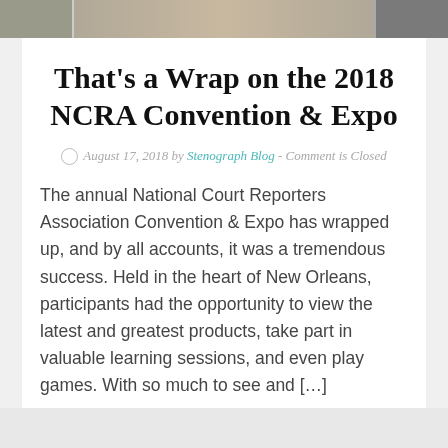[Figure (photo): A partial photo strip showing images from the NCRA Convention & Expo event at the top of the page]
That's a Wrap on the 2018 NCRA Convention & Expo
August 17, 2018 by Stenograph Blog - Comment is Closed
The annual National Court Reporters Association Convention & Expo has wrapped up, and by all accounts, it was a tremendous success. Held in the heart of New Orleans, participants had the opportunity to view the latest and greatest products, take part in valuable learning sessions, and even play games. With so much to see and […]
Read More